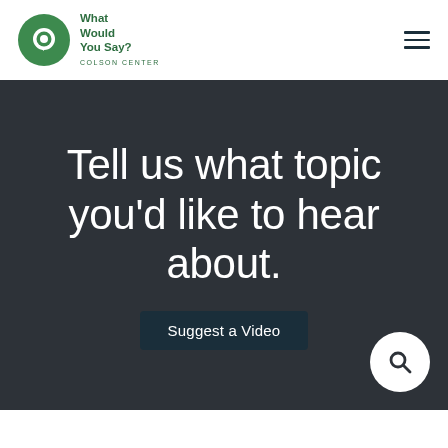[Figure (logo): What Would You Say? Colson Center logo — green circle with white speech bubble icon, green text beside it]
Tell us what topic you'd like to hear about.
Suggest a Video